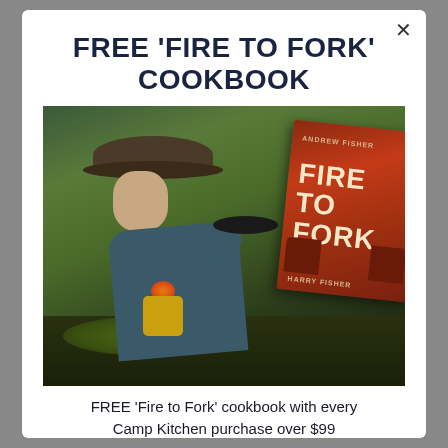FREE 'FIRE TO FORK' COOKBOOK
[Figure (photo): Person in a wide-brim hat cooking in a pan on a camp stove outdoors, with the 'Fire to Fork' cookbook by Harry Fisher overlaid on the right side of the image.]
FREE 'Fire to Fork' cookbook with every Camp Kitchen purchase over $99